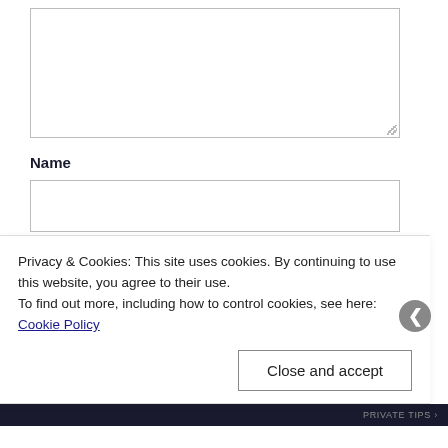[Figure (screenshot): A textarea input box (comment/message field), empty, with a resize handle at the bottom right.]
Name
[Figure (screenshot): A single-line text input box for Name, empty.]
Email
Privacy & Cookies: This site uses cookies. By continuing to use this website, you agree to their use.
To find out more, including how to control cookies, see here: Cookie Policy
Close and accept